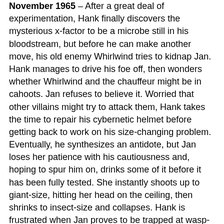November 1965 – After a great deal of experimentation, Hank finally discovers the mysterious x-factor to be a microbe still in his bloodstream, but before he can make another move, his old enemy Whirlwind tries to kidnap Jan. Hank manages to drive his foe off, then wonders whether Whirlwind and the chauffeur might be in cahoots. Jan refuses to believe it. Worried that other villains might try to attack them, Hank takes the time to repair his cybernetic helmet before getting back to work on his size-changing problem. Eventually, he synthesizes an antidote, but Jan loses her patience with his cautiousness and, hoping to spur him on, drinks some of it before it has been fully tested. She instantly shoots up to giant-size, hitting her head on the ceiling, then shrinks to insect-size and collapses. Hank is frustrated when Jan proves to be trapped at wasp-size now as well, and vows to find an antidote that works for both of them.
Over the following days, Hank rebuilds his lab equipment to scale so he and Jan can operate it at their tiny size. However, Whirlwind attacks again, determined to get his hands on the Van Dyne family fortune one way or another.